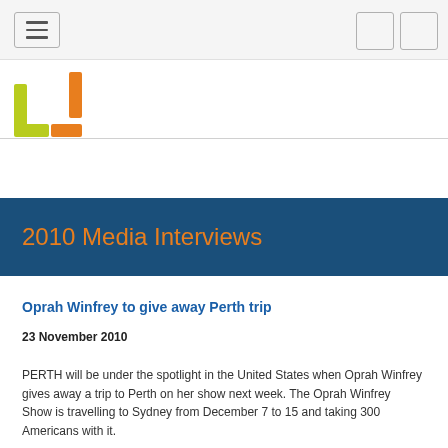[Figure (logo): Website navigation bar with hamburger menu icon on left and two icon boxes on right]
[Figure (logo): Yellow-green and orange bracket/U-shaped logo mark]
2010 Media Interviews
Oprah Winfrey to give away Perth trip
23 November 2010
PERTH will be under the spotlight in the United States when Oprah Winfrey gives away a trip to Perth on her show next week. The Oprah Winfrey Show is travelling to Sydney from December 7 to 15 and taking 300 Americans with it.